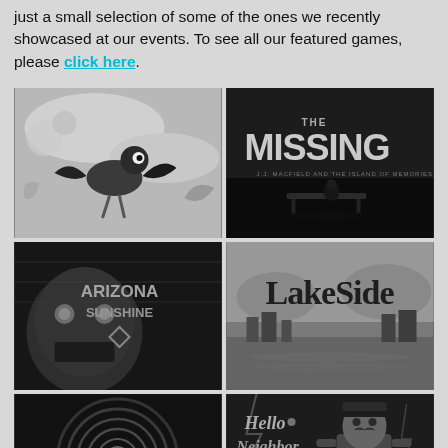just a small selection of some of the ones we recently showcased at our events. To see all our featured games, please click here.
[Figure (illustration): Grayscale stylized game artwork showing a bird/crane character with abstract shapes]
[Figure (illustration): Dark atmospheric game screenshot for 'The Missing: J.J. Macfield and the Island of Memories' showing title text and silhouette scene]
[Figure (illustration): Dark game screenshot for 'Arizona Sunshine' VR game showing a zombie creature and game logo]
[Figure (illustration): Game screenshot for 'Lakeside' showing stylized text logo over a lake/town background]
[Figure (illustration): Game screenshot for 'Obversion' with yin-yang symbol and spiral tunnel]
[Figure (illustration): Game screenshot for 'Hello Neighbor' showing the neighbor character and game logo]